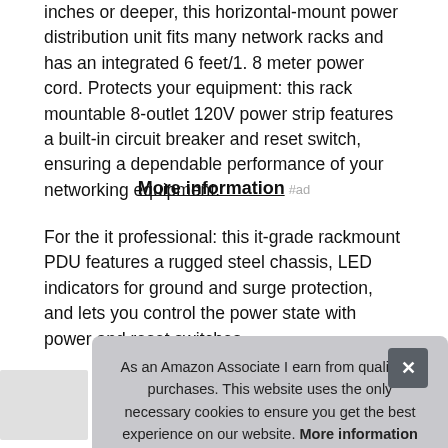inches or deeper, this horizontal-mount power distribution unit fits many network racks and has an integrated 6 feet/1. 8 meter power cord. Protects your equipment: this rack mountable 8-outlet 120V power strip features a built-in circuit breaker and reset switch, ensuring a dependable performance of your networking equipment.
More information #ad
For the it professional: this it-grade rackmount PDU features a rugged steel chassis, LED indicators for ground and surge protection, and lets you control the power state with power and reset switches.
| Ma |  |
| Height | 1.68 inches |
As an Amazon Associate I earn from qualifying purchases. This website uses the only necessary cookies to ensure you get the best experience on our website. More information